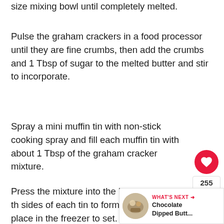size mixing bowl until completely melted.
Pulse the graham crackers in a food processor until they are fine crumbs, then add the crumbs and 1 Tbsp of sugar to the melted butter and stir to incorporate.
Spray a mini muffin tin with non-stick cooking spray and fill each muffin tin with about 1 Tbsp of the graham cracker mixture.
Press the mixture into the bottom and up the sides of each tin to form a mini pie crust and place in the freezer to set.